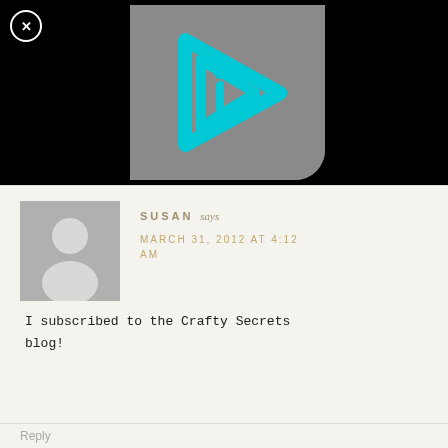[Figure (screenshot): Black background with a gray rounded rectangle thumbnail showing a cyan/turquoise play button arrow with an 'i' inside it. A close button (circled X) is in the top-left corner.]
SUSAN says
MARCH 31, 2012 AT 4:12 AM
I subscribed to the Crafty Secrets blog!
Reply